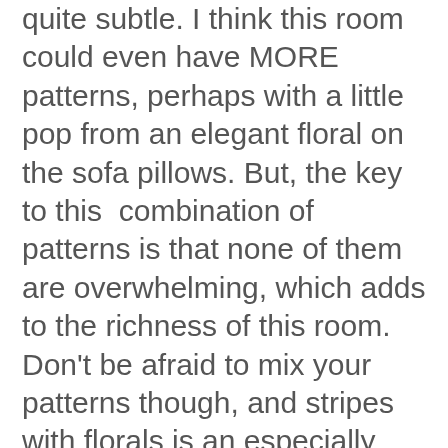quite subtle. I think this room could even have MORE patterns, perhaps with a little pop from an elegant floral on the sofa pillows. But, the key to this combination of patterns is that none of them are overwhelming, which adds to the richness of this room. Don’t be afraid to mix your patterns though, and stripes with florals is an especially great mix, as seen in this sofa.
Add Textures ~ There’s a lot of texture going on in this room, even though much of it is very subtle. Even the shape of the floor lamp adds texture! From the smooth surface of the chrome accessories to